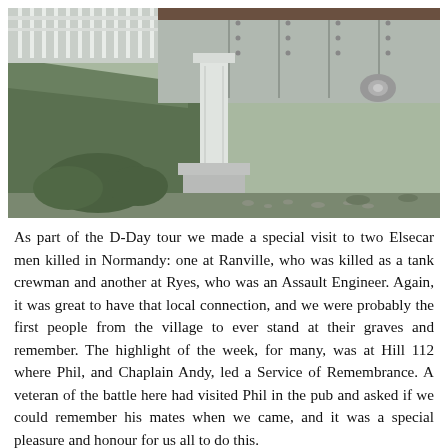[Figure (photo): Close-up photograph of the underside structure of a bridge, showing grey painted steel beams, riveted panels, a white painted support column on a concrete base, with a grassy embankment and shrubs in the background.]
As part of the D-Day tour we made a special visit to two Elsecar men killed in Normandy: one at Ranville, who was killed as a tank crewman and another at Ryes, who was an Assault Engineer. Again, it was great to have that local connection, and we were probably the first people from the village to ever stand at their graves and remember. The highlight of the week, for many, was at Hill 112 where Phil, and Chaplain Andy, led a Service of Remembrance. A veteran of the battle here had visited Phil in the pub and asked if we could remember his mates when we came, and it was a special pleasure and honour for us all to do this.